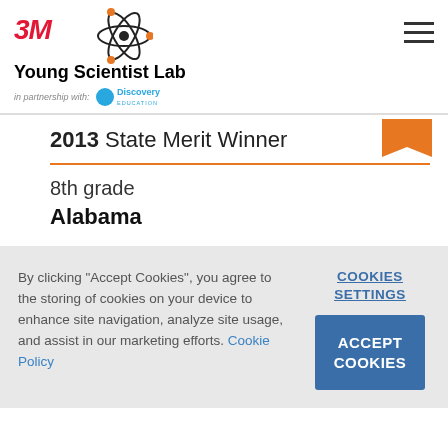3M Young Scientist Lab in partnership with Discovery Education
2013 State Merit Winner
8th grade
Alabama
By clicking "Accept Cookies", you agree to the storing of cookies on your device to enhance site navigation, analyze site usage, and assist in our marketing efforts. Cookie Policy
COOKIES SETTINGS
ACCEPT COOKIES